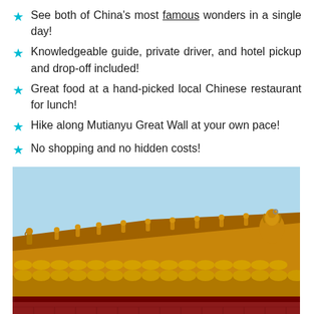See both of China's most famous wonders in a single day!
Knowledgeable guide, private driver, and hotel pickup and drop-off included!
Great food at a hand-picked local Chinese restaurant for lunch!
Hike along Mutianyu Great Wall at your own pace!
No shopping and no hidden costs!
[Figure (photo): Photo of traditional Chinese architecture rooftop with golden glazed roof tiles and decorative figurines/statues along the ridge, against a blue sky — characteristic of the Forbidden City in Beijing.]